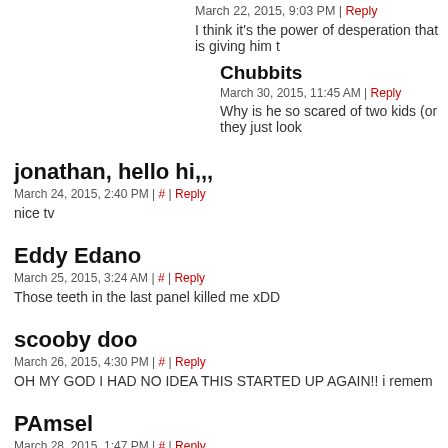March 22, 2015, 9:03 PM | Reply
I think it's the power of desperation that is giving him t
Chubbits
March 30, 2015, 11:45 AM | Reply
Why is he so scared of two kids (or they just look
jonathan, hello hi,,,
March 24, 2015, 2:40 PM | # | Reply
nice tv
Eddy Edano
March 25, 2015, 3:24 AM | # | Reply
Those teeth in the last panel killed me xDD
scooby doo
March 26, 2015, 4:30 PM | # | Reply
OH MY GOD I HAD NO IDEA THIS STARTED UP AGAIN!! i remem
PAmsel
March 28, 2015, 1:47 PM | # | Reply